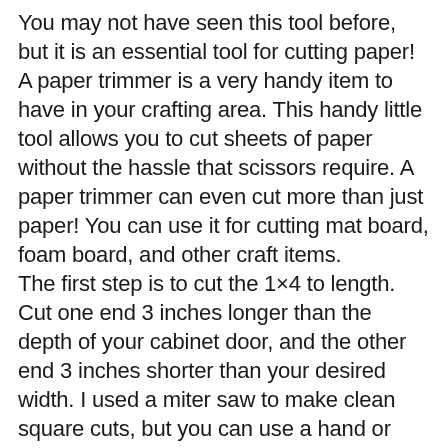You may not have seen this tool before, but it is an essential tool for cutting paper! A paper trimmer is a very handy item to have in your crafting area. This handy little tool allows you to cut sheets of paper without the hassle that scissors require. A paper trimmer can even cut more than just paper! You can use it for cutting mat board, foam board, and other craft items.
The first step is to cut the 1×4 to length. Cut one end 3 inches longer than the depth of your cabinet door, and the other end 3 inches shorter than your desired width. I used a miter saw to make clean square cuts, but you can use a hand or table saw if you don't have a miter saw.
When measuring your cuts, remember that once your cuts are made, you'll be losing an